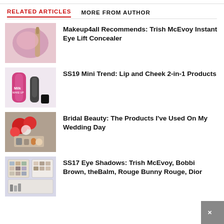RELATED ARTICLES
MORE FROM AUTHOR
[Figure (photo): Makeup brush and pink cosmetics product photo]
Makeup4all Recommends: Trish McEvoy Instant Eye Lift Concealer
[Figure (photo): Milk Makeup and lip/cheek product sticks]
SS19 Mini Trend: Lip and Cheek 2-in-1 Products
[Figure (photo): Red roses and makeup products bridal flat lay]
Bridal Beauty: The Products I've Used On My Wedding Day
[Figure (photo): Eye shadow palettes including Trish McEvoy, Bobbi Brown, theBalm]
SS17 Eye Shadows: Trish McEvoy, Bobbi Brown, theBalm, Rouge Bunny Rouge, Dior